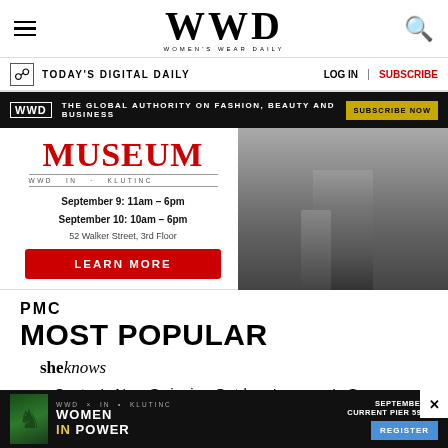WWD — Women's Wear Daily
TODAY'S DIGITAL DAILY | LOG IN | SUBSCRIBE
WWD THE GLOBAL AUTHORITY ON FASHION, BEAUTY AND BUSINESS SUBSCRIBE NOW
[Figure (photo): Advertisement for museum event: MUSEUM, WWD collaboration, September 9: 11am-6pm, September 10: 10am-6pm, 52 Walker Street, 3rd Floor, LEARN MORE button, with black and white photo of person's legs]
[Figure (logo): PMC logo]
MOST POPULAR
[Figure (logo): sheknows logo]
1. Costco's New Swinging Outdoor Lounger Is So Gorgeous, Shoppers Are Buying It for Their Living…
[Figure (photo): Bottom advertisement: Women in Power event, September 13, Current Pier 59 NY, Register button, with chess piece graphic]